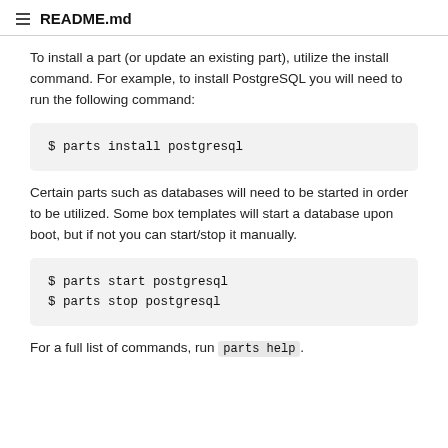README.md
To install a part (or update an existing part), utilize the install command. For example, to install PostgreSQL you will need to run the following command:
Certain parts such as databases will need to be started in order to be utilized. Some box templates will start a database upon boot, but if not you can start/stop it manually.
For a full list of commands, run parts help.